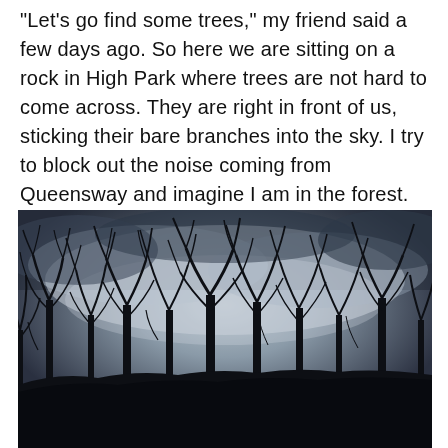"Let's go find some trees," my friend said a few days ago. So here we are sitting on a rock in High Park where trees are not hard to come across. They are right in front of us, sticking their bare branches into the sky. I try to block out the noise coming from Queensway and imagine I am in the forest. Not an easy task so I focus on birds chirping and twittering instead.
[Figure (photo): A low-angle photograph looking up at bare winter trees silhouetted against a dramatic cloudy twilight sky with warm orange glows near the horizon, taken in High Park.]